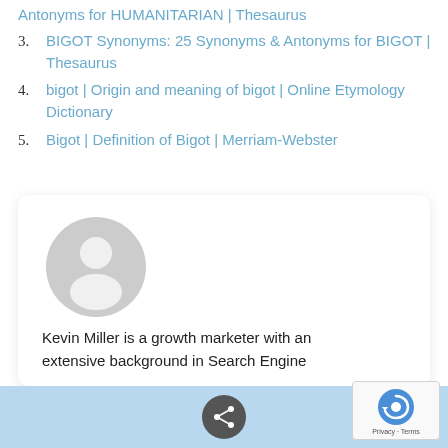Antonyms for HUMANITARIAN | Thesaurus (partial, top of page)
3. BIGOT Synonyms: 25 Synonyms & Antonyms for BIGOT | Thesaurus
4. bigot | Origin and meaning of bigot | Online Etymology Dictionary
5. Bigot | Definition of Bigot | Merriam-Webster
[Figure (illustration): User profile card with a generic grey avatar/silhouette icon and bio text reading: Kevin Miller is a growth marketer with an extensive background in Search Engine...]
Kevin Miller is a growth marketer with an extensive background in Search Engine